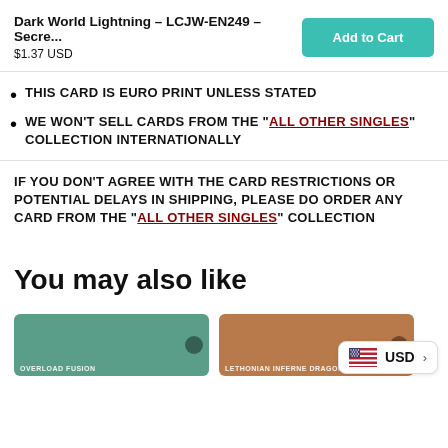Dark World Lightning – LCJW-EN249 – Secre...
$1.37 USD
THIS CARD IS EURO PRINT UNLESS STATED
WE WON'T SELL CARDS FROM THE "ALL OTHER SINGLES" COLLECTION INTERNATIONALLY
IF YOU DON'T AGREE WITH THE CARD RESTRICTIONS OR POTENTIAL DELAYS IN SHIPPING, PLEASE DO ORDER ANY CARD FROM THE "ALL OTHER SINGLES" COLLECTION
You may also like
[Figure (photo): Yu-Gi-Oh card: Overload Fusion (teal/green background)]
[Figure (photo): Yu-Gi-Oh card: Lethonian Inferno Dragon (brown background)]